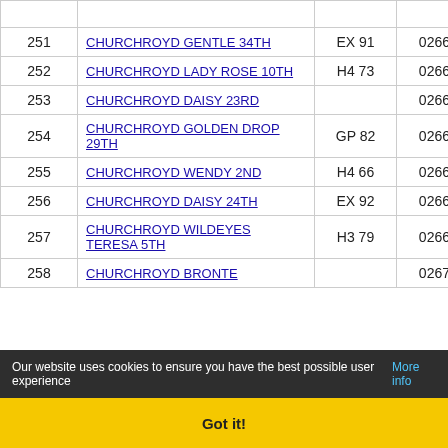| # | Name | Code | ID | F |
| --- | --- | --- | --- | --- |
|  |  |  |  |  |
| 251 | CHURCHROYD GENTLE 34TH | EX 91 | 02668383 | F |
| 252 | CHURCHROYD LADY ROSE 10TH | H4 73 | 02668384 | F |
| 253 | CHURCHROYD DAISY 23RD |  | 02668385 | F |
| 254 | CHURCHROYD GOLDEN DROP 29TH | GP 82 | 02668386 | F |
| 255 | CHURCHROYD WENDY 2ND | H4 66 | 02668387 | F |
| 256 | CHURCHROYD DAISY 24TH | EX 92 | 02668388 | F |
| 257 | CHURCHROYD WILDEYES TERESA 5TH | H3 79 | 02668389 | F |
| 258 | CHURCHROYD BRONTE |  | 02670089 | F |
Our website uses cookies to ensure you have the best possible user experience More info
Got it!